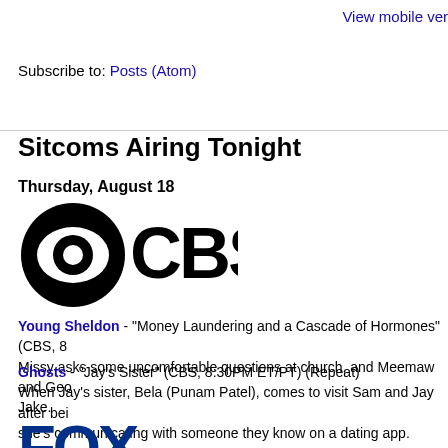View mobile ver
Subscribe to: Posts (Atom)
Sitcoms Airing Tonight
Thursday, August 18
[Figure (logo): CBS eye logo in black and white]
Young Sheldon - "Money Laundering and a Cascade of Hormones" (CBS, 8... Missy asks some uncomfortable questions at church, and Meemaw and Geo... Jake.
Ghosts - "Jay's Sister" (CBS, 8:30PM ET/PT) (Repeat)
When Jay's sister, Bela (Punam Patel), comes to visit Sam and Jay after bei... she's communicating with someone they know on a dating app.
[Figure (logo): FOX logo in dark blue bold letters]